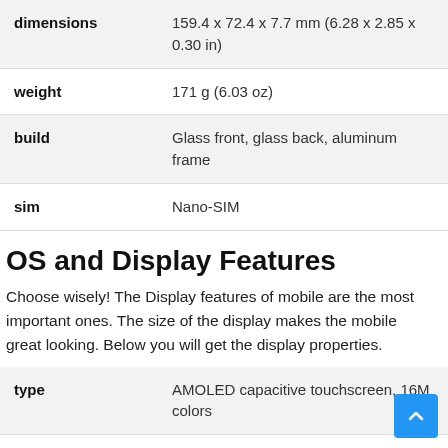| Property | Value |
| --- | --- |
| dimensions | 159.4 x 72.4 x 7.7 mm (6.28 x 2.85 x 0.30 in) |
| weight | 171 g (6.03 oz) |
| build | Glass front, glass back, aluminum frame |
| sim | Nano-SIM |
OS and Display Features
Choose wisely! The Display features of mobile are the most important ones. The size of the display makes the mobile great looking. Below you will get the display properties.
| Property | Value |
| --- | --- |
| type | AMOLED capacitive touchscreen, 16M colors |
| size | 6.5 inches, 102.0 cm2 (~88.4% screen-to- |